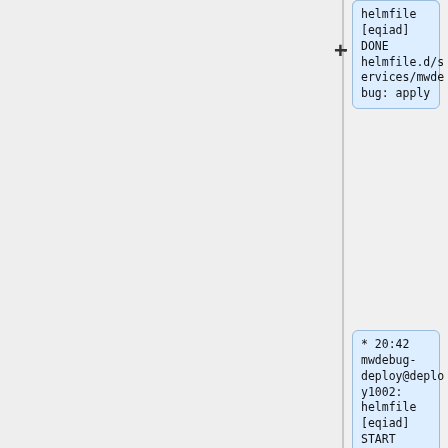helmfile [eqiad] DONE helmfile.d/services/mwdebug: apply
* 20:42 mwdebug-deploy@deploy1002: helmfile [eqiad] START helmfile.d/services/mwdebug: apply
* 20:42 krinkle@deploy1002: Synchronized